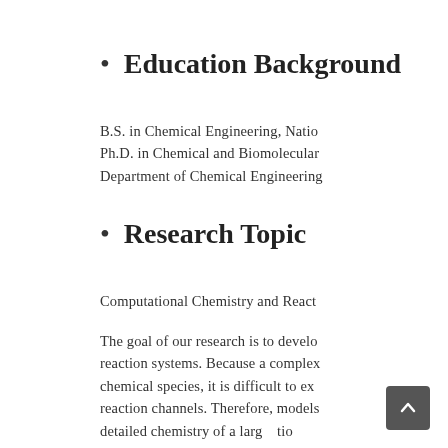Education Background
B.S. in Chemical Engineering, Natio...
Ph.D. in Chemical and Biomolecular...
Department of Chemical Engineering...
Research Topic
Computational Chemistry and React...
The goal of our research is to develo... reaction systems. Because a complex... chemical species, it is difficult to ex... reaction channels. Therefore, models... detailed chemistry of a large... tion... this problem since it can ke... ck... limitations of experimental techniqu...